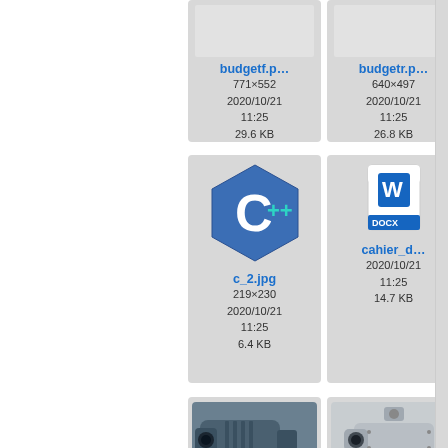[Figure (screenshot): File browser grid view showing file thumbnails with names, dimensions, dates, and sizes. Files shown: budgetf.p... (771x552, 2020/10/21 11:25, 29.6 KB), budgetr.p... (640x497, 2020/10/21 11:25, 26.8 KB), c_2.jpg (C++ logo image, 219x230, 2020/10/21 11:25, 6.4 KB), cahier_d... (DOCX file, 2020/10/21 11:25, 14.7 KB), and two camera images partially visible at bottom.]